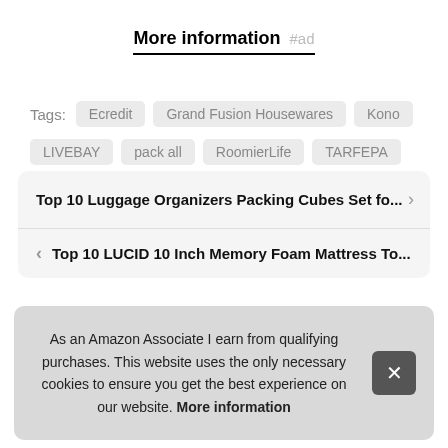More information #ad
Tags: Ecredit  Grand Fusion Housewares  Kono  LIVEBAY  pack all  RoomierLife  TARFEPA  THOVSMOON  Tooerlen  TuTuShop
Top 10 Luggage Organizers Packing Cubes Set fo...
Top 10 LUCID 10 Inch Memory Foam Mattress To...
As an Amazon Associate I earn from qualifying purchases. This website uses the only necessary cookies to ensure you get the best experience on our website. More information